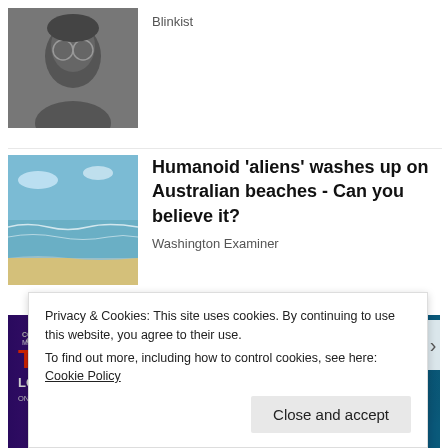[Figure (photo): Black and white photo of a man with glasses and beard]
Blinkist
[Figure (photo): Beach scene with waves and blue sky]
Humanoid 'aliens' washes up on Australian beaches - Can you believe it?
Washington Examiner
[Figure (illustration): Marvel Strike Force advertisement banner featuring Thor: Love and Thunder characters]
Privacy & Cookies: This site uses cookies. By continuing to use this website, you agree to their use.
To find out more, including how to control cookies, see here: Cookie Policy
Close and accept